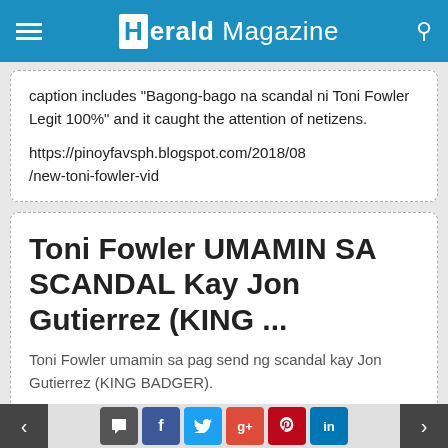Herald Magazine
caption includes "Bagong-bago na scandal ni Toni Fowler Legit 100%" and it caught the attention of netizens.

https://pinoyfavsph.blogspot.com/2018/08/new-toni-fowler-vid
Toni Fowler UMAMIN SA SCANDAL Kay Jon Gutierrez (KING ...
Toni Fowler umamin sa pag send ng scandal kay Jon Gutierrez (KING BADGER).
< [comment] [f] [twitter] [g+] [pinterest] [in] >